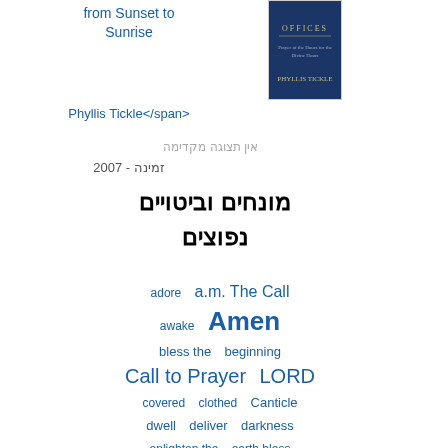from Sunset to Sunrise
[Figure (photo): Book cover of 'Offices' by Phyllis Tickle, dark blue cover]
<span dir=ltr>Phyllis Tickle</span>
אין תצוגה מקדימה
זמינה - 2007
מונחים וביטויים נפוצים
adore  a.m.  The Call  awake  Amen  bless the  beginning  Call to Prayer  LORD  covered  clothed  Canticle  dwell  deliver  darkness  enlighten the  earth bless  eyes  Excelsis Glory  nations  fear  Father  faithful  forgive  forever  Final  Gloria in  give thanks